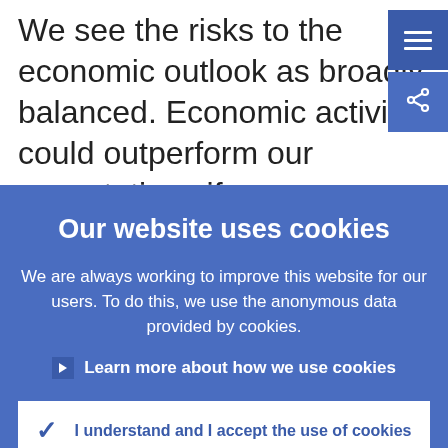We see the risks to the economic outlook as broadly balanced. Economic activity could outperform our expectations if consumers spend more than currently expected and
Our website uses cookies
We are always working to improve this website for our users. To do this, we use the anonymous data provided by cookies.
Learn more about how we use cookies
I understand and I accept the use of cookies
I do not accept the use of cookies